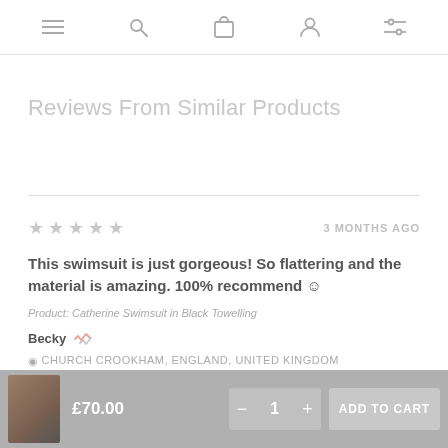[Navigation icons: menu, search, bag, account, filters]
Reviews From Similar Products
★ ★ ★ ★ ★   3 MONTHS AGO
This swimsuit is just gorgeous! So flattering and the material is amazing. 100% recommend 🙂
Product: Catherine Swimsuit in Black Towelling
Becky [verified badge] ◉ CHURCH CROOKHAM, ENGLAND, UNITED KINGDOM
£70.00  — 1 +  ADD TO CART